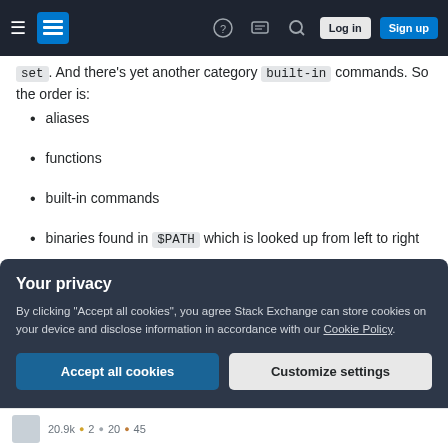Stack Exchange navigation bar with hamburger menu, logo, help, chat, search, log in, sign up
set. And there's yet another category built-in commands. So the order is:
aliases
functions
built-in commands
binaries found in $PATH which is looked up from left to right
Lastly, worth noting and remembering: aliases do not work (not defined) in shell scripts.
Your privacy
By clicking "Accept all cookies", you agree Stack Exchange can store cookies on your device and disclose information in accordance with our Cookie Policy.
Accept all cookies   Customize settings